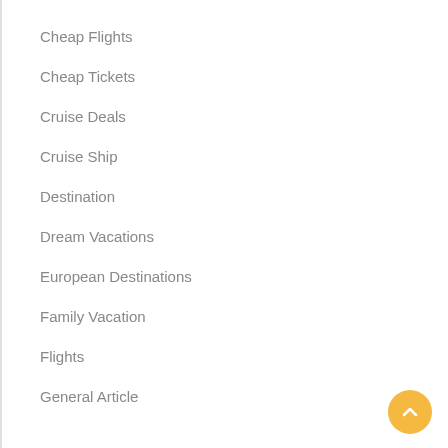Cheap Flights
Cheap Tickets
Cruise Deals
Cruise Ship
Destination
Dream Vacations
European Destinations
Family Vacation
Flights
General Article
Holiday Packages
Holliday
Honeymoon